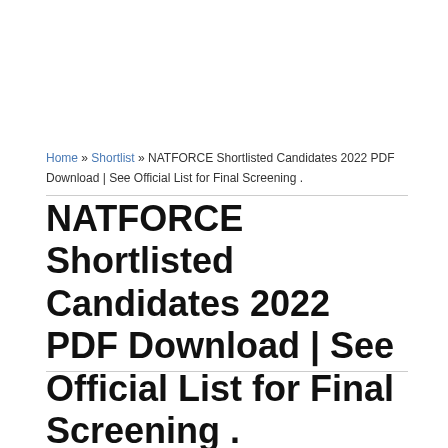Home » Shortlist » NATFORCE Shortlisted Candidates 2022 PDF Download | See Official List for Final Screening .
NATFORCE Shortlisted Candidates 2022 PDF Download | See Official List for Final Screening .
Filed in Shortlist by Admin on August 13, 2022